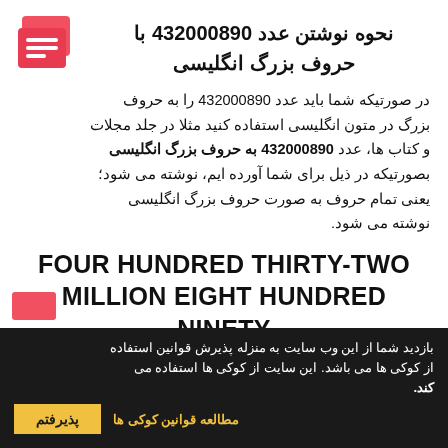نحوه نوشتن عدد 432000890 با حروف بزرگ انگلیسی
در صورتیکه شما باید عدد 432000890 را به حروف بزرگ در متون انگلیسی استفاده کنید مثلا در جلد مجلات و کتاب ها، عدد 432000890 به حروف بزرگ انگلیسی بصورتیکه در ذیل برای شما آورده ایم، نوشته می شود؛ یعنی تمام حروف به صورت حروف بزرگ انگلیسی نوشته می شود.
FOUR HUNDRED THIRTY-TWO MILLION EIGHT HUNDRED NINETY
بازدید شما از این وب سایت به منزله پذیرش قوانین استفاده از کوکی ها می باشد. این سایت از کوکی ها استفاده می کند.
مطالعه قوانین کوکی ها
پذیرفتم